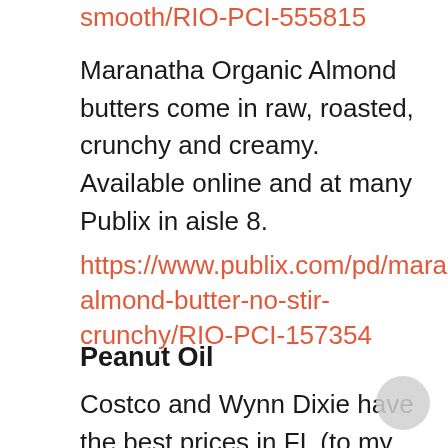smooth/RIO-PCI-555815
Maranatha Organic Almond butters come in raw, roasted, crunchy and creamy. Available online and at many Publix in aisle 8.
https://www.publix.com/pd/maranatha-almond-butter-no-stir-crunchy/RIO-PCI-157354
Peanut Oil
Costco and Wynn Dixie have the best prices in FL (to my knowledge)